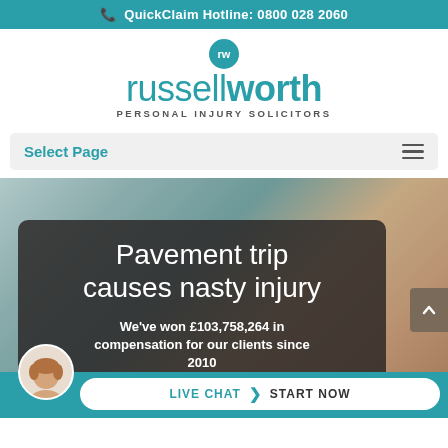QuickClaim Hotline: 0800 028 2060
[Figure (logo): Russell Worth Personal Injury Solicitors logo with teal circular rw emblem and company name]
Select Page
[Figure (photo): Close-up blurred photo of a person's head/neck as background hero image]
Pavement trip causes nasty injury
We've won £103,758,264 in compensation for our clients since 2010
LIVE CHAT  START NOW